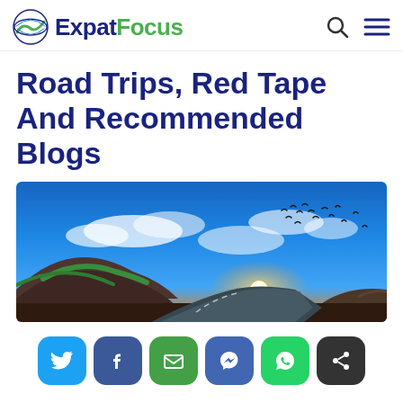ExpatFocus
Road Trips, Red Tape And Recommended Blogs
[Figure (photo): Scenic road winding through hilly landscape at sunset with dramatic blue sky, white clouds, and birds flying overhead]
Social share buttons: Twitter, Facebook, Email, Messenger, WhatsApp, Share